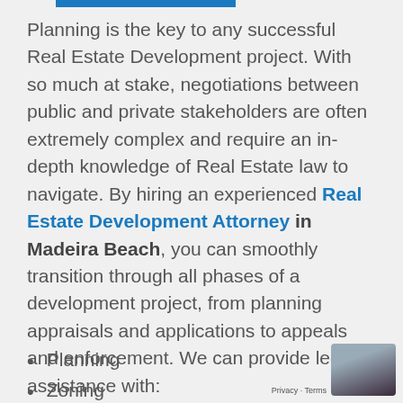Planning is the key to any successful Real Estate Development project. With so much at stake, negotiations between public and private stakeholders are often extremely complex and require an in-depth knowledge of Real Estate law to navigate. By hiring an experienced Real Estate Development Attorney in Madeira Beach, you can smoothly transition through all phases of a development project, from planning appraisals and applications to appeals and enforcement. We can provide legal assistance with:
Planning
Zoning